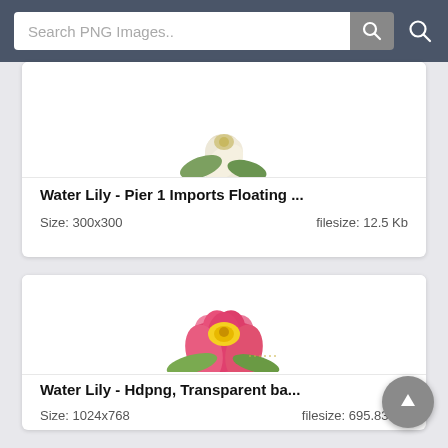[Figure (screenshot): Search bar UI with text 'Search PNG Images..' and search button icons on dark grey background]
[Figure (photo): Partial white/cream water lily flower on white background (card cropped at top)]
Water Lily - Pier 1 Imports Floating ...
Size: 300x300    filesize: 12.5 Kb
[Figure (photo): Pink lotus flower (Water Lily) on white transparent background]
Water Lily - Hdpng, Transparent ba...
Size: 1024x768    filesize: 695.83 Kb